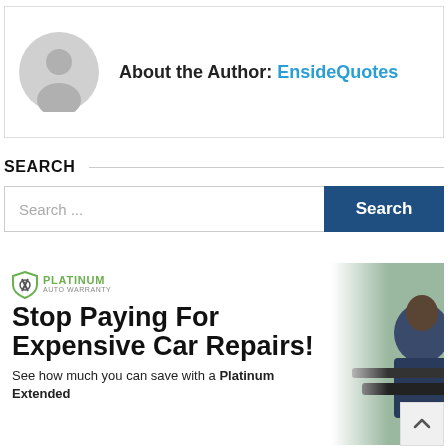About the Author: EnsideQuotes
SEARCH
Search ...
[Figure (infographic): Platinum Auto Warranty advertisement showing a mechanic working under a car hood. Text reads: Stop Paying For Expensive Car Repairs! See how much you can save with a Platinum Extended [warranty].]